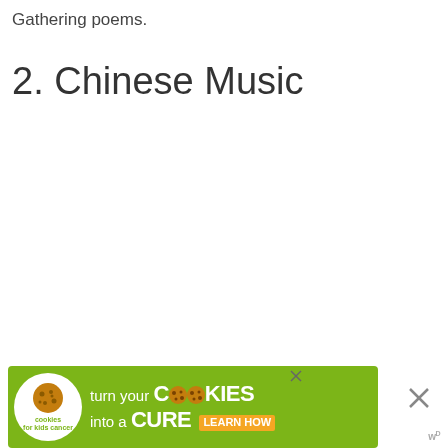Gathering poems.
2. Chinese Music
[Figure (other): Advertisement banner for 'Cookies for Kids Cancer' campaign. Green background with white cookie circle logo, text reading 'turn your COOKIES into a CURE LEARN HOW'. Close button on right side with X icon and 'w' badge.]